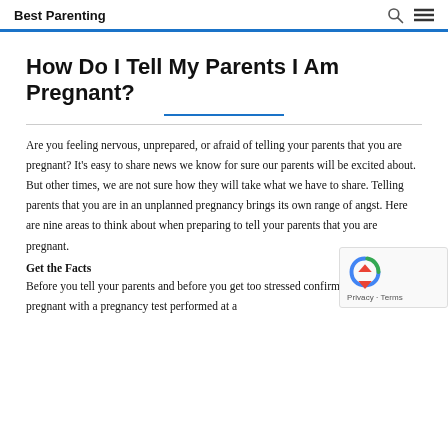Best Parenting
How Do I Tell My Parents I Am Pregnant?
Are you feeling nervous, unprepared, or afraid of telling your parents that you are pregnant? It’s easy to share news we know for sure our parents will be excited about. But other times, we are not sure how they will take what we have to share. Telling parents that you are in an unplanned pregnancy brings its own range of angst. Here are nine areas to think about when preparing to tell your parents that you are pregnant.
Get the Facts
Before you tell your parents and before you get too stressed confirm that you are pregnant with a pregnancy test performed at a